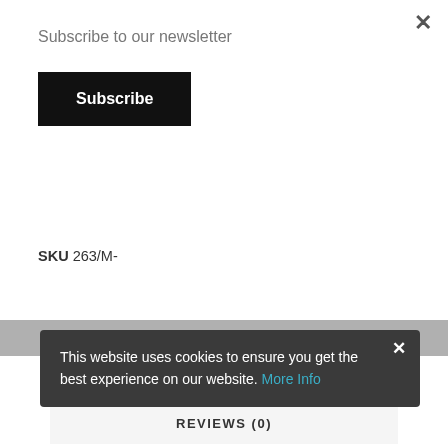Subscribe to our newsletter
Subscribe
This product is currently out of stock and unavailable.
SKU 263/M-
DESCRIPTION
ADDITIONAL INFORMATION
REVIEWS (0)
This website uses cookies to ensure you get the best experience on our website. More Info